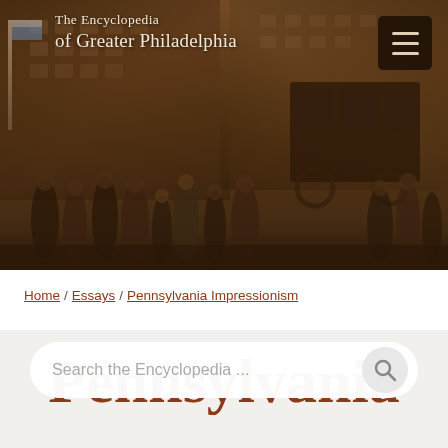The Encyclopedia of Greater Philadelphia
[Figure (illustration): Historical painting of a street scene with figures in period dress, buildings in the background, and a carriage, serving as the hero banner image for The Encyclopedia of Greater Philadelphia website.]
Search the Encyclopedia ...
Home / Essays / Pennsylvania Impressionism
Pennsylvania